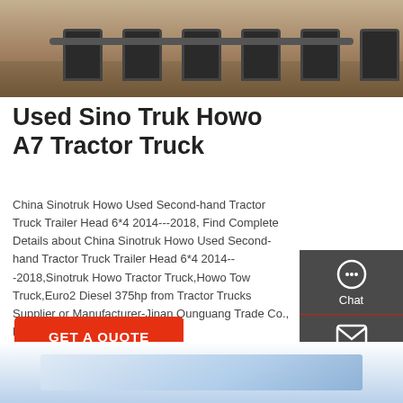[Figure (photo): Partial top of page showing underside/rear of truck with wheels visible against a sandy/dirt ground background]
Used Sino Truk Howo A7 Tractor Truck
China Sinotruk Howo Used Second-hand Tractor Truck Trailer Head 6*4 2014---2018, Find Complete Details about China Sinotruk Howo Used Second-hand Tractor Truck Trailer Head 6*4 2014---2018,Sinotruk Howo Tractor Truck,Howo Tow Truck,Euro2 Diesel 375hp from Tractor Trucks Supplier or Manufacturer-Jinan Qunguang Trade Co., Ltd. Get a Quote
[Figure (other): Sidebar panel with dark grey background showing Chat, Email, and Contact icons/buttons]
[Figure (photo): Bottom portion of page showing start of another product image with light blue background]
GET A QUOTE